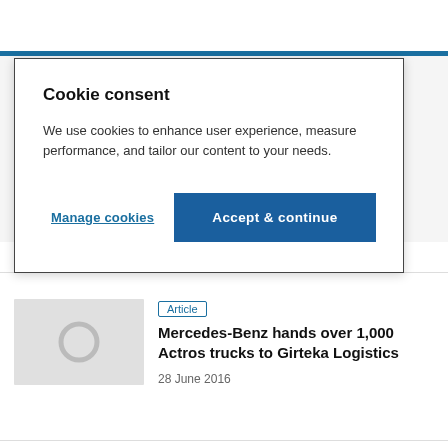Automotive LOGISTICS
[Figure (screenshot): Cookie consent dialog box with title 'Cookie consent', body text, Manage cookies link, and Accept & continue button]
04 July 2016
Article
Mercedes-Benz hands over 1,000 Actros trucks to Girteka Logistics
28 June 2016